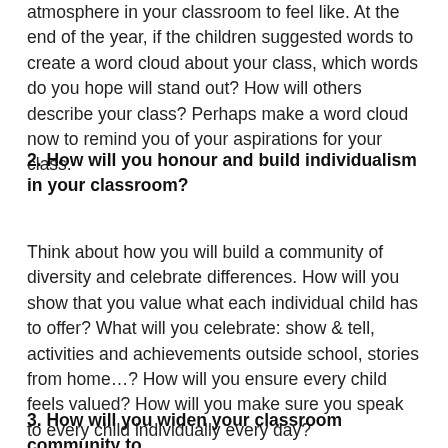atmosphere in your classroom to feel like. At the end of the year, if the children suggested words to create a word cloud about your class, which words do you hope will stand out? How will others describe your class? Perhaps make a word cloud now to remind you of your aspirations for your class.
2. How will you honour and build individualism in your classroom?
Think about how you will build a community of diversity and celebrate differences. How will you show that you value what each individual child has to offer? What will you celebrate: show & tell, activities and achievements outside school, stories from home…? How will you ensure every child feels valued? How will you make sure you speak to every child individually every day?
3. How will you widen your classroom community to